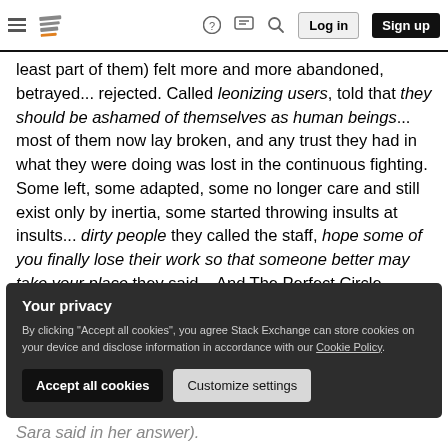Stack Exchange navigation bar with hamburger menu, logo, help, chat, search icons, Log in and Sign up buttons
least part of them) felt more and more abandoned, betrayed... rejected. Called leonizing users, told that they should be ashamed of themselves as human beings... most of them now lay broken, and any trust they had in what they were doing was lost in the continuous fighting. Some left, some adapted, some no longer care and still exist only by inertia, some started throwing insults at insults... dirty people they called the staff, hope some of you finally lose their work so that someone better may take your place they said... And The Perfect Circle continued.
Your privacy
By clicking "Accept all cookies", you agree Stack Exchange can store cookies on your device and disclose information in accordance with our Cookie Policy.
Accept all cookies  Customize settings
Sara said in her answer).